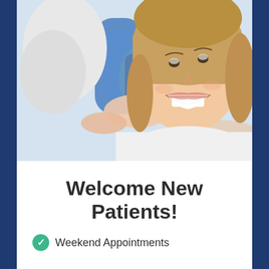[Figure (photo): A smiling young woman with blonde bob hair sitting in a dental/medical chair, wearing a white top. A dental professional's hands are visible gesturing near her. Blue dental chair visible in background.]
Welcome New Patients!
Weekend Appointments